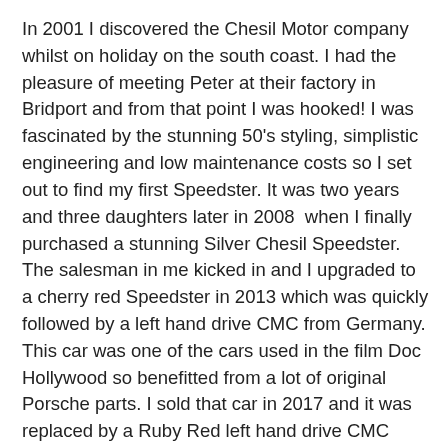In 2001 I discovered the Chesil Motor company whilst on holiday on the south coast. I had the pleasure of meeting Peter at their factory in Bridport and from that point I was hooked! I was fascinated by the stunning 50's styling, simplistic engineering and low maintenance costs so I set out to find my first Speedster. It was two years and three daughters later in 2008  when I finally purchased a stunning Silver Chesil Speedster. The salesman in me kicked in and I upgraded to a cherry red Speedster in 2013 which was quickly followed by a left hand drive CMC from Germany. This car was one of the cars used in the film Doc Hollywood so benefitted from a lot of original Porsche parts. I sold that car in 2017 and it was replaced by a Ruby Red left hand drive CMC which I sold in 2018 to a friend in France. Since then I have bought and sold many more Speedsters. These have included Chesil, CMC, Beck and Vintage.
I don't profess to be a mechanic but over the last 25 years I have accumulated a wealth of knowledge and experience with regards to Speedsters, if anyone has any questions or